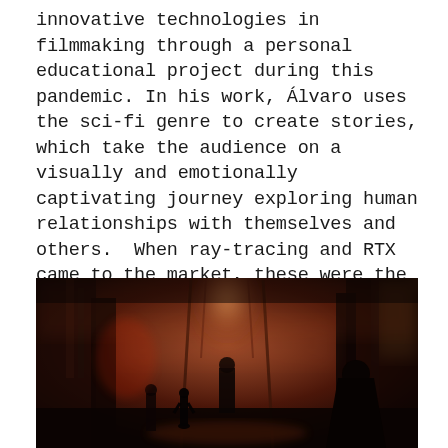innovative technologies in filmmaking through a personal educational project during this pandemic. In his work, Álvaro uses the sci-fi genre to create stories, which take the audience on a visually and emotionally captivating journey exploring human relationships with themselves and others.  When ray-tracing and RTX came to the market, these were the tools to use with Houdini on each of the major scenes.  Alvaro Garcia says he also likes to animate faces, with Key-framing in his comfort zone.
[Figure (photo): A dark cinematic sci-fi scene showing silhouetted figures in a dramatic corridor with orange/red glowing light and smoke or haze, suggesting a dystopian or fantasy environment.]